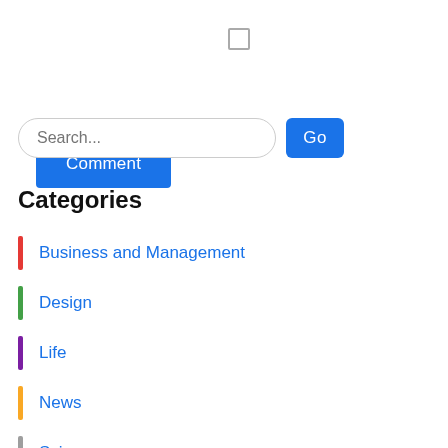[Figure (other): Checkbox UI element (unchecked square)]
[Figure (other): Post Comment button (blue rounded rectangle with white text)]
[Figure (other): Search input field with placeholder 'Search...' and blue 'Go' button]
Categories
Business and Management
Design
Life
News
Science
Wealth